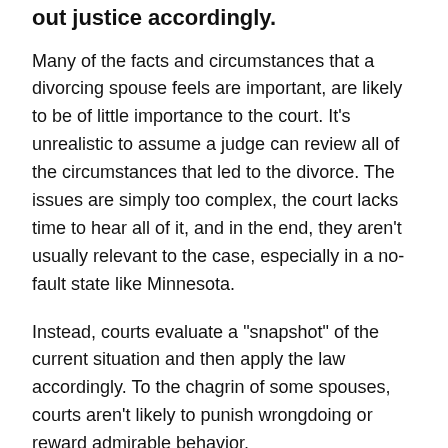out justice accordingly.
Many of the facts and circumstances that a divorcing spouse feels are important, are likely to be of little importance to the court. It’s unrealistic to assume a judge can review all of the circumstances that led to the divorce. The issues are simply too complex, the court lacks time to hear all of it, and in the end, they aren't usually relevant to the case, especially in a no-fault state like Minnesota.
Instead, courts evaluate a "snapshot" of the current situation and then apply the law accordingly. To the chagrin of some spouses, courts aren't likely to punish wrongdoing or reward admirable behavior.
Myth #6: "A legal separation is common."